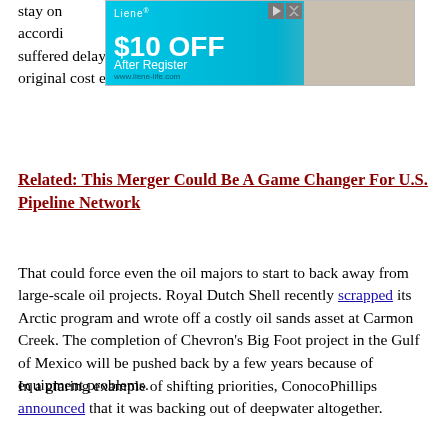stay on date, according to have suffered delays, and two-thirds have blown through their original cost expectations.
[Figure (other): Advertisement banner: Liene $10 OFF After Register]
Related: This Merger Could Be A Game Changer For U.S. Pipeline Network
That could force even the oil majors to start to back away from large-scale oil projects. Royal Dutch Shell recently scrapped its Arctic program and wrote off a costly oil sands asset at Carmon Creek. The completion of Chevron's Big Foot project in the Gulf of Mexico will be pushed back by a few years because of equipment problems.
In a glaring example of shifting priorities, ConocoPhillips announced that it was backing out of deepwater altogether. By 2017, the company says it will cease deepwater exploration and will sell off its offshore leases that it does not plan on developing. Conoco has the rights to 2.2 million